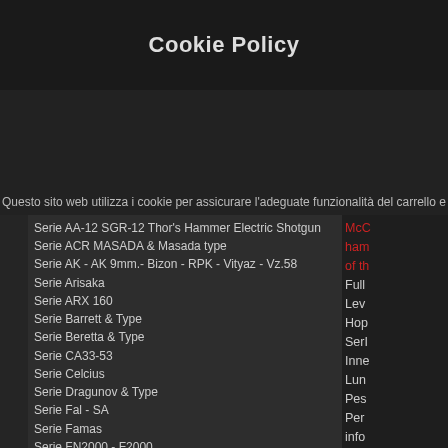Cookie Policy
Questo sito web utilizza i cookie per assicurare l'adeguate funzionalità del carrello e
Serie AA-12 SGR-12 Thor's Hammer Electric Shotgun
Serie ACR MASADA & Masada type
Serie AK - AK 9mm.- Bizon - RPK - Vityaz - Vz.58
Serie Arisaka
Serie ARX 160
Serie Barrett & Type
Serie Beretta & Type
Serie CA33-53
Serie Celcius
Serie Dragunov & Type
Serie Fal - SA
Serie Famas
Serie FN2000 - F2000
Serie G28 DMR762
Serie G3
Serie G33
Serie G36
Serie Galil
Serie Garand
Serie GAT S-Aeg Semi Automatic Electric Gun
Serie GF76/85/GK5-FNC Herstal
Serie Ingram Mac 10-11
Serie K98 - KAR98K Mauser Karabiner
Serie Kel-Tec RDB17 Bullpup
Serie KG-9
Serie Kriss Vector
Serie L85/86
Serie Lee Enfield
Serie LR300
Serie M1 - M2
Serie M14 - GR14 - EBR
Serie M4 - M16 - 416 - 5,56 e Similari  ->
Serie MAR 38
McC
ham
of th
Full
Lev
Hop
SerI
Inne
Lun
Pes
Per
info
The
it is
cen
hun
mor
lot n
Wilc